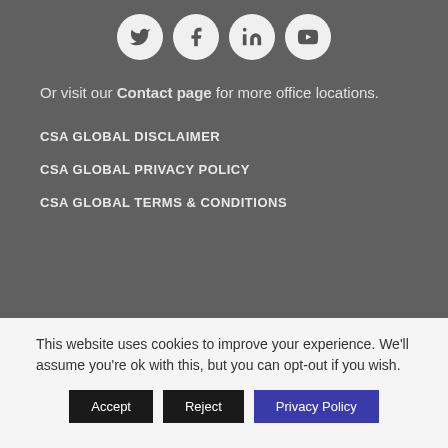[Figure (infographic): Four social media icon buttons (Twitter, Facebook, LinkedIn, YouTube) displayed as white circles on a dark gray background]
Or visit our Contact page for more office locations.
CSA GLOBAL DISCLAIMER
CSA GLOBAL PRIVACY POLICY
CSA GLOBAL TERMS & CONDITIONS
This website uses cookies to improve your experience. We'll assume you're ok with this, but you can opt-out if you wish.
Accept | Reject | Privacy Policy